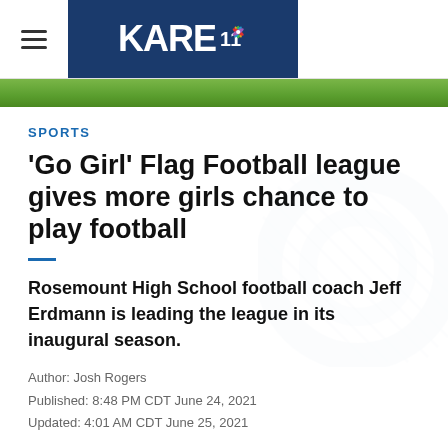KARE 11
[Figure (photo): Green grass/field background strip below the KARE 11 header logo]
SPORTS
'Go Girl' Flag Football league gives more girls chance to play football
Rosemount High School football coach Jeff Erdmann is leading the league in its inaugural season.
Author: Josh Rogers
Published: 8:48 PM CDT June 24, 2021
Updated: 4:01 AM CDT June 25, 2021
ROSEMOUNT, Minn. — It was during his team's first playoff game last season that Rosemount head football coach Jeff Erdmann...